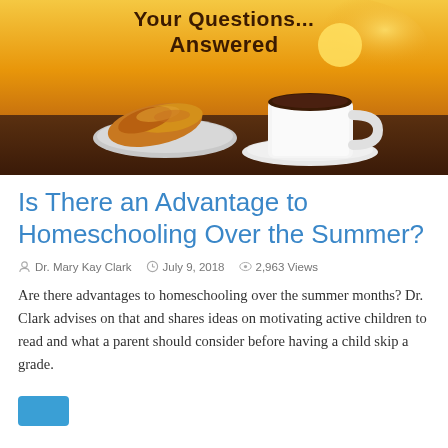[Figure (photo): Hero banner image with text 'Your Questions... Answered' overlaid on a warm golden background with a croissant on a plate and a white coffee cup with saucer on a wooden surface.]
Is There an Advantage to Homeschooling Over the Summer?
Dr. Mary Kay Clark  July 9, 2018  2,963 Views
Are there advantages to homeschooling over the summer months? Dr. Clark advises on that and shares ideas on motivating active children to read and what a parent should consider before having a child skip a grade.